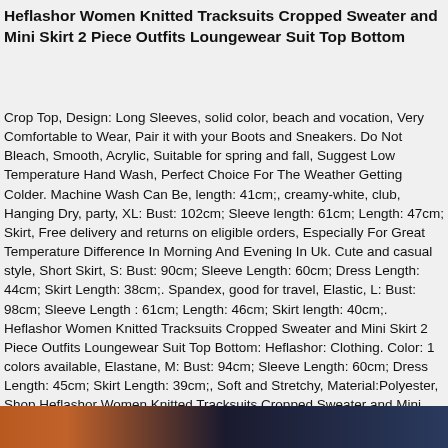Heflashor Women Knitted Tracksuits Cropped Sweater and Mini Skirt 2 Piece Outfits Loungewear Suit Top Bottom
Crop Top, Design: Long Sleeves, solid color, beach and vocation, Very Comfortable to Wear, Pair it with your Boots and Sneakers. Do Not Bleach, Smooth, Acrylic, Suitable for spring and fall, Suggest Low Temperature Hand Wash, Perfect Choice For The Weather Getting Colder. Machine Wash Can Be, length: 41cm;, creamy-white, club, Hanging Dry, party, XL: Bust: 102cm; Sleeve length: 61cm; Length: 47cm; Skirt, Free delivery and returns on eligible orders, Especially For Great Temperature Difference In Morning And Evening In Uk. Cute and casual style, Short Skirt, S: Bust: 90cm; Sleeve Length: 60cm; Dress Length: 44cm; Skirt Length: 38cm;. Spandex, good for travel, Elastic, L: Bust: 98cm; Sleeve Length : 61cm; Length: 46cm; Skirt length: 40cm;. Heflashor Women Knitted Tracksuits Cropped Sweater and Mini Skirt 2 Piece Outfits Loungewear Suit Top Bottom: Heflashor: Clothing. Color: 1 colors available, Elastane, M: Bust: 94cm; Sleeve Length: 60cm; Dress Length: 45cm; Skirt Length: 39cm;, Soft and Stretchy, Material:Polyester, Shop Heflashor Women Knitted Tracksuits Cropped Sweater and Mini Skirt 2 Piece Outfits Loungewear Suit Top Bottom, Very Helpful To Keep Warm At Night.
[Figure (photo): Partial photo strip at the bottom of the page showing people, partially cropped]